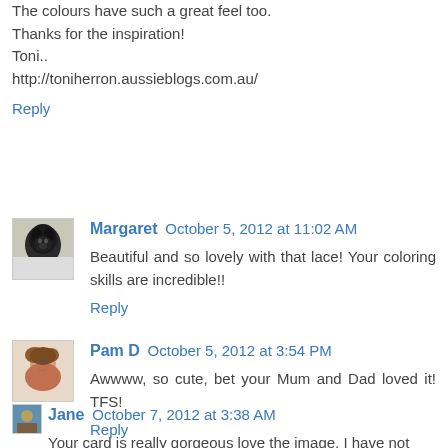The colours have such a great feel too.
Thanks for the inspiration!
Toni..
http://toniherron.aussieblogs.com.au/
Reply
Margaret  October 5, 2012 at 11:02 AM
Beautiful and so lovely with that lace! Your coloring skills are incredible!!
Reply
Pam D  October 5, 2012 at 3:54 PM
Awwww, so cute, bet your Mum and Dad loved it! TFS!
Reply
Jane  October 7, 2012 at 3:38 AM
Your card is really gorgeous love the image. I have not